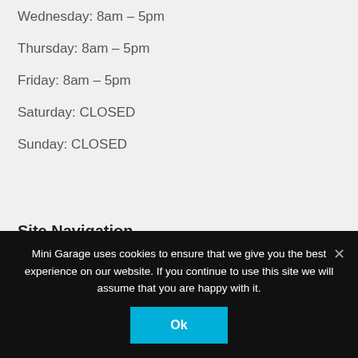Wednesday: 8am – 5pm
Thursday: 8am – 5pm
Friday: 8am – 5pm
Saturday: CLOSED
Sunday: CLOSED
Site Navigation
Mini Garage uses cookies to ensure that we give you the best experience on our website. If you continue to use this site we will assume that you are happy with it.